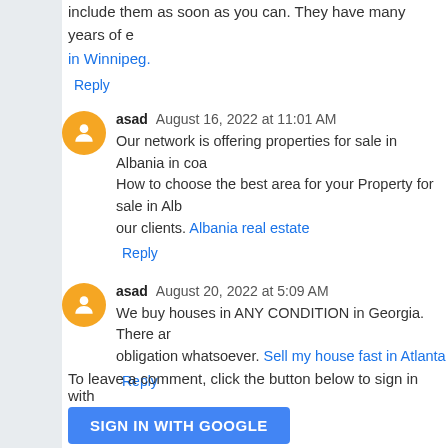include them as soon as you can. They have many years of e… in Winnipeg.
Reply
asad August 16, 2022 at 11:01 AM
Our network is offering properties for sale in Albania in coa… How to choose the best area for your Property for sale in Alb… our clients. Albania real estate
Reply
asad August 20, 2022 at 5:09 AM
We buy houses in ANY CONDITION in Georgia. There ar… obligation whatsoever. Sell my house fast in Atlanta
Reply
To leave a comment, click the button below to sign in with
SIGN IN WITH GOOGLE